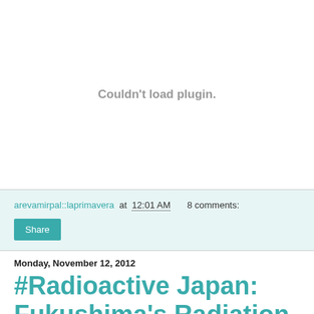[Figure (other): Plugin placeholder area with text 'Couldn't load plugin.']
arevamirpal::laprimavera at 12:01 AM    8 comments:
Share
Monday, November 12, 2012
#Radioactive Japan: Fukushima's Radiation Monitoring Posts Attract Residents' Anger